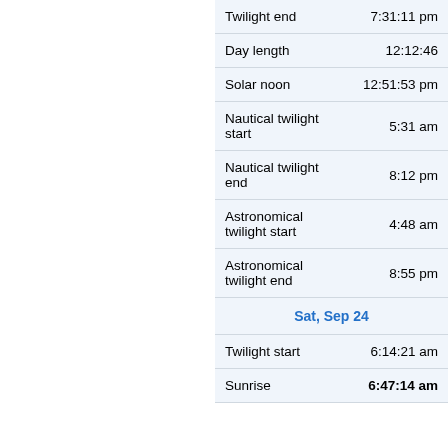| Event | Time |
| --- | --- |
| Twilight end | 7:31:11 pm |
| Day length | 12:12:46 |
| Solar noon | 12:51:53 pm |
| Nautical twilight start | 5:31 am |
| Nautical twilight end | 8:12 pm |
| Astronomical twilight start | 4:48 am |
| Astronomical twilight end | 8:55 pm |
| Sat, Sep 24 |  |
| Twilight start | 6:14:21 am |
| Sunrise | 6:47:14 am |